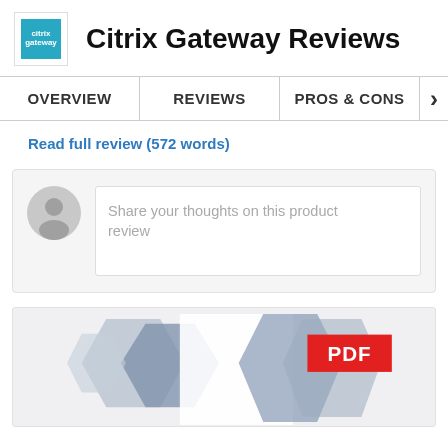Citrix Gateway Reviews
OVERVIEW | REVIEWS | PROS & CONS
Read full review (572 words)
[Figure (screenshot): Comment input box with avatar placeholder and text 'Share your thoughts on this product review']
[Figure (screenshot): PDF document preview thumbnail with blue geometric shapes and a red PDF badge label]